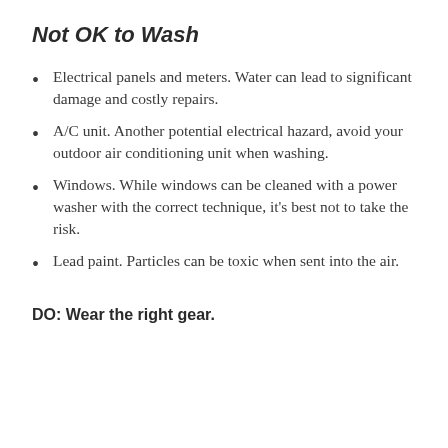Not OK to Wash
Electrical panels and meters. Water can lead to significant damage and costly repairs.
A/C unit. Another potential electrical hazard, avoid your outdoor air conditioning unit when washing.
Windows. While windows can be cleaned with a power washer with the correct technique, it's best not to take the risk.
Lead paint. Particles can be toxic when sent into the air.
DO: Wear the right gear.